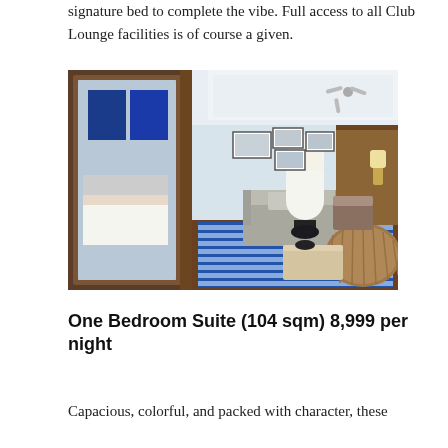signature bed to complete the vibe. Full access to all Club Lounge facilities is of course a given.
[Figure (photo): Hotel suite interior showing a bedroom with blue art on the wall and a living area with sofa, lamp, and colorful striped blue rug, with wooden accents throughout.]
One Bedroom Suite (104 sqm) 8,999 per night
Capacious, colorful, and packed with character, these